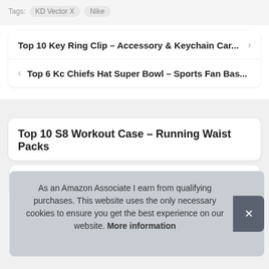Tags: KD Vector X   Nike
Top 10 Key Ring Clip – Accessory & Keychain Car...
Top 6 Kc Chiefs Hat Super Bowl – Sports Fan Bas...
Top 10 S8 Workout Case – Running Waist Packs
As an Amazon Associate I earn from qualifying purchases. This website uses the only necessary cookies to ensure you get the best experience on our website. More information
Top 9 Elcan Specter Airsoft – Hunting & Shooting